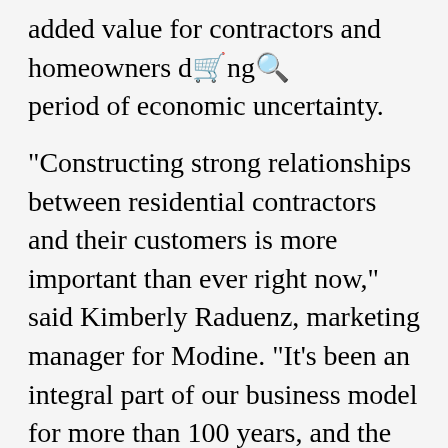added value for contractors and homeowners during a period of economic uncertainty.
"Constructing strong relationships between residential contractors and their customers is more important than ever right now," said Kimberly Raduenz, marketing manager for Modine. "It's been an integral part of our business model for more than 100 years, and the Modine Authorized Contractor Program extends that commitment. Modine is one of the most trusted HVAC brands, and partnering with us positions contractors to distinguish themselves in their markets."
Modine Authorized Contractors receive priority access to Modine's superior support network, as well as help with any product questions or technical inquiries. As an Authorized Contractor, they can offer customers an additional one-year warranty on Modine Hot Dawg products. Authorized Contractors will be given priority